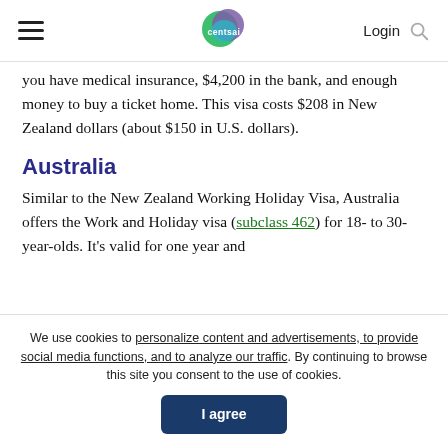centsai — Login
you have medical insurance, $4,200 in the bank, and enough money to buy a ticket home. This visa costs $208 in New Zealand dollars (about $150 in U.S. dollars).
Australia
Similar to the New Zealand Working Holiday Visa, Australia offers the Work and Holiday visa (subclass 462) for 18- to 30-year-olds. It's valid for one year and
We use cookies to personalize content and advertisements, to provide social media functions, and to analyze our traffic. By continuing to browse this site you consent to the use of cookies. I agree